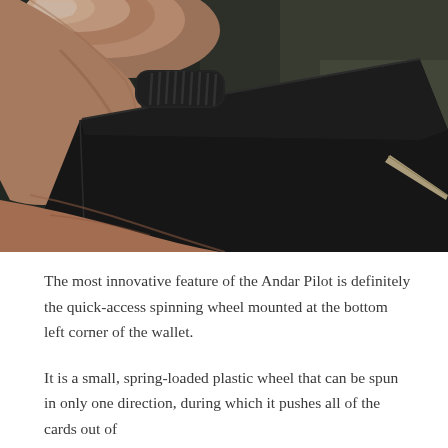[Figure (photo): Close-up photograph of a hand holding a black wallet (Andar Pilot), showing the textured spinning wheel at the top-left corner of the wallet. The background is blurred with dark green tones.]
The most innovative feature of the Andar Pilot is definitely the quick-access spinning wheel mounted at the bottom left corner of the wallet.
It is a small, spring-loaded plastic wheel that can be spun in only one direction, during which it pushes all of the cards out of